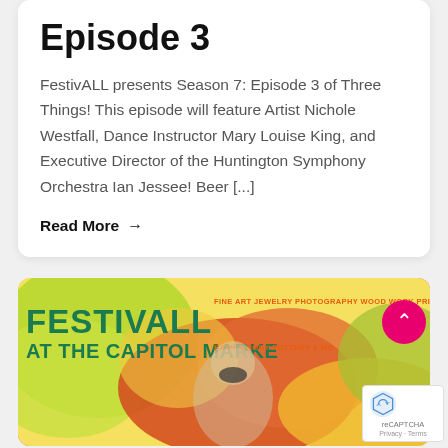Episode 3
FestivALL presents Season 7: Episode 3 of Three Things! This episode will feature Artist Nichole Westfall, Dance Instructor Mary Louise King, and Executive Director of the Huntington Symphony Orchestra Ian Jessee!  Beer [...]
Read More →
[Figure (photo): FestivALL at the Capitol Market promotional banner with colorful abstract background, text reading FESTIVALL FINE ART JEWELRY PHOTOGRAPHY WOOD WORK PRINTMA... AT THE CAPITOL MARKE... BATH & BODY POTTERY & MO... with a masked person/artist in the foreground]